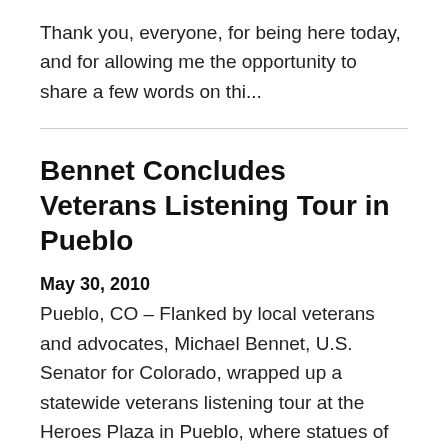Thank you, everyone, for being here today, and for allowing me the opportunity to share a few words on thi...
Bennet Concludes Veterans Listening Tour in Pueblo
May 30, 2010
Pueblo, CO – Flanked by local veterans and advocates, Michael Bennet, U.S. Senator for Colorado, wrapped up a statewide veterans listening tour at the Heroes Plaza in Pueblo, where statues of Pueblo's four Medal of Honor Recipients serve as a reminder of the sacrifices